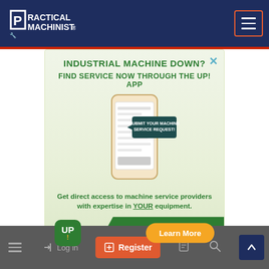[Figure (screenshot): Practical Machinist website screenshot showing navigation header with logo and hamburger menu, an advertisement for UP! App for industrial machine service, and a bottom navigation bar with Log in, Register, and other icons.]
Practical Machinist
INDUSTRIAL MACHINE DOWN?
FIND SERVICE NOW THROUGH THE UP! APP
Get direct access to machine service providers with expertise in YOUR equipment.
Learn More
Log in   Register